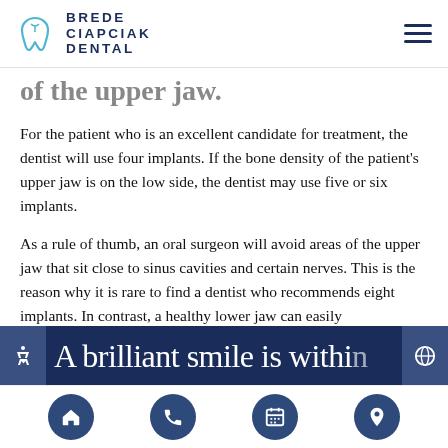Brede Ciapciak Dental
of the upper jaw
For the patient who is an excellent candidate for treatment, the dentist will use four implants. If the bone density of the patient's upper jaw is on the low side, the dentist may use five or six implants.
As a rule of thumb, an oral surgeon will avoid areas of the upper jaw that sit close to sinus cavities and certain nerves. This is the reason why it is rare to find a dentist who recommends eight implants. In contrast, a healthy lower jaw can easily accommodate eight implants.
A brilliant smile is within
Home | Phone | Calendar | Location